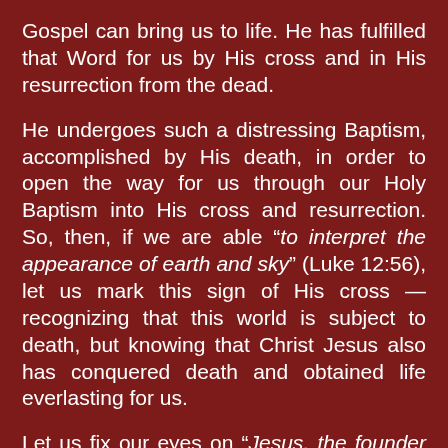Gospel can bring us to life. He has fulfilled that Word for us by His cross and in His resurrection from the dead.
He undergoes such a distressing Baptism, accomplished by His death, in order to open the way for us through our Holy Baptism into His cross and resurrection. So, then, if we are able “to interpret the appearance of earth and sky” (Luke 12:56), let us mark this sign of His cross — recognizing that this world is subject to death, but knowing that Christ Jesus also has conquered death and obtained life everlasting for us.
Let us fix our eyes on “Jesus, the founder and perfecter of our faith” and “run with endurance the race that is set before us” (Heb. 12:1–2).
Blessed Lord, You have caused all Holy Scriptures to be written for our learning. Grant that we may so